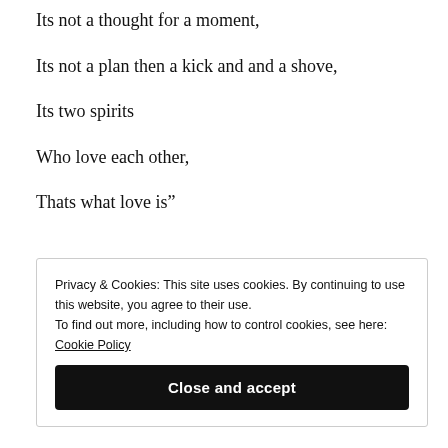Its not a thought for a moment,
Its not a plan then a kick and and a shove,
Its two spirits
Who love each other,
Thats what love is”
Privacy & Cookies: This site uses cookies. By continuing to use this website, you agree to their use.
To find out more, including how to control cookies, see here: Cookie Policy
Close and accept